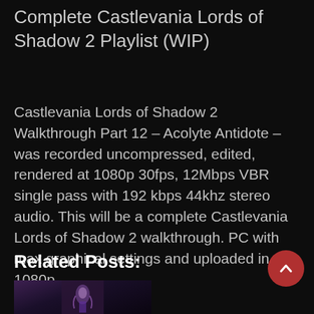Complete Castlevania Lords of Shadow 2 Playlist (WIP)
Castlevania Lords of Shadow 2 Walkthrough Part 12 – Acolyte Antidote – was recorded uncompressed, edited, rendered at 1080p 30fps, 12Mbps VBR single pass with 192 kbps 44khz stereo audio. This will be a complete Castlevania Lords of Shadow 2 walkthrough. PC with max graphical settings and uploaded in 1080p.
Related Posts:
[Figure (photo): Dark thumbnail image partially visible at the bottom, showing a character in a dark fantasy/gothic style scene from Castlevania Lords of Shadow 2]